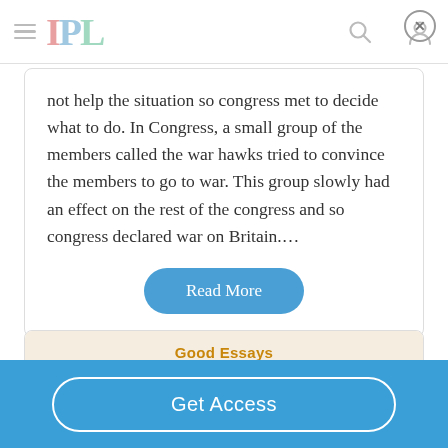IPL
not help the situation so congress met to decide what to do. In Congress, a small group of the members called the war hawks tried to convince the members to go to war. This group slowly had an effect on the rest of the congress and so congress declared war on Britain....
Good Essays
How Did John Adams Support American
Get Access